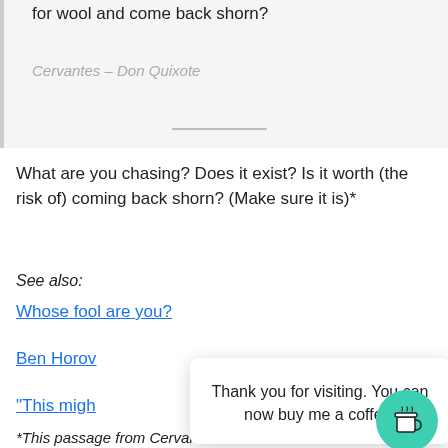for wool and come back shorn?
Cervantes – Don Quixote
What are you chasing? Does it exist? Is it worth (the risk of) coming back shorn? (Make sure it is)*
See also:
Whose fool are you?
Ben Horov
"This migh
Thank you for visiting. You can now buy me a coffee!
*This passage from Cervantes reminds me of this from